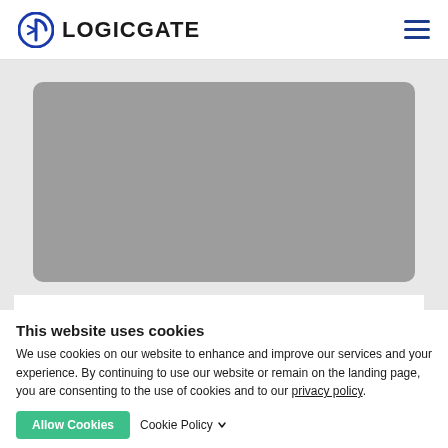LOGICGATE
[Figure (illustration): Gray rounded rectangle image placeholder on a light gray background]
This website uses cookies
We use cookies on our website to enhance and improve our services and your experience. By continuing to use our website or remain on the landing page, you are consenting to the use of cookies and to our privacy policy.
Allow Cookies   Cookie Policy